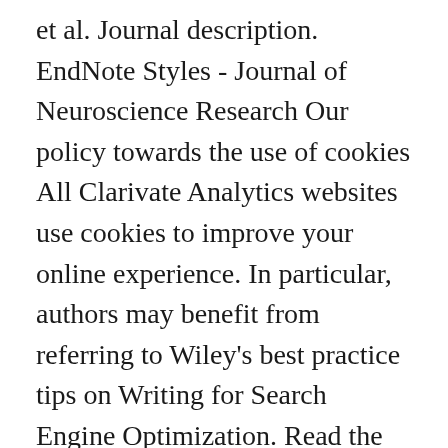et al. Journal description. EndNote Styles - Journal of Neuroscience Research Our policy towards the use of cookies All Clarivate Analytics websites use cookies to improve your online experience. In particular, authors may benefit from referring to Wiley's best practice tips on Writing for Search Engine Optimization. Read the latest articles of Neuroscience Research at ScienceDirect.com, Elsevier's leading platform of peer-reviewed scholarly literature. General information regarding licensing and copyright is available elsewhere. If you cannot share the data described in your manuscript, for example for legal or ethical reasons, or do not intend to share the data then you must provide the appropriate data